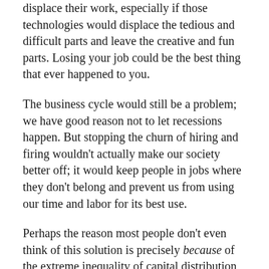displace their work, especially if those technologies would displace the tedious and difficult parts and leave the creative and fun parts. Losing your job could be the best thing that ever happened to you.
The business cycle would still be a problem; we have good reason not to let recessions happen. But stopping the churn of hiring and firing wouldn't actually make our society better off; it would keep people in jobs where they don't belong and prevent us from using our time and labor for its best use.
Perhaps the reason most people don't even think of this solution is precisely because of the extreme inequality of capital distribution—and